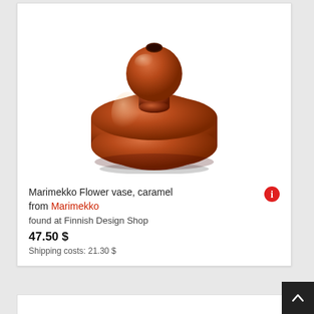[Figure (photo): Marimekko Flower vase in caramel color — a rounded squat body with a smaller spherical top, glossy burnt-orange/caramel glass]
Marimekko Flower vase, caramel from Marimekko
found at Finnish Design Shop
47.50 $
Shipping costs: 21.30 $